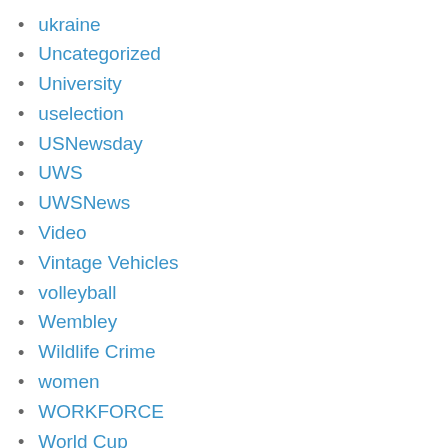ukraine
Uncategorized
University
uselection
USNewsday
UWS
UWSNews
Video
Vintage Vehicles
volleyball
Wembley
Wildlife Crime
women
WORKFORCE
World Cup
Youngsters